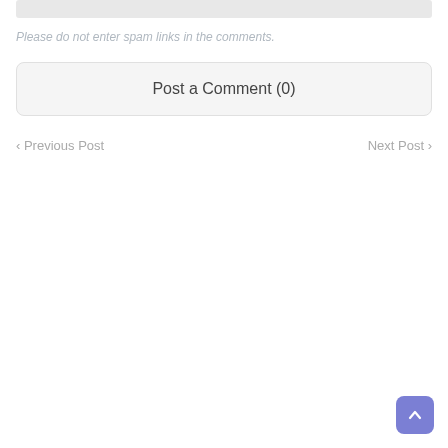Please do not enter spam links in the comments.
Post a Comment (0)
< Previous Post
Next Post >